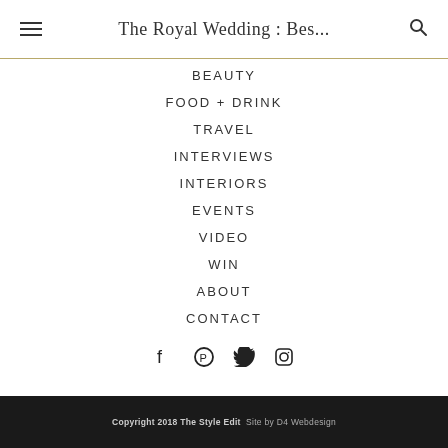The Royal Wedding : Bes...
BEAUTY
FOOD + DRINK
TRAVEL
INTERVIEWS
INTERIORS
EVENTS
VIDEO
WIN
ABOUT
CONTACT
[Figure (infographic): Social media icons: Facebook, Pinterest, Twitter, Instagram]
Copyright 2018 The Style Edit   Site by D4 Webdesign